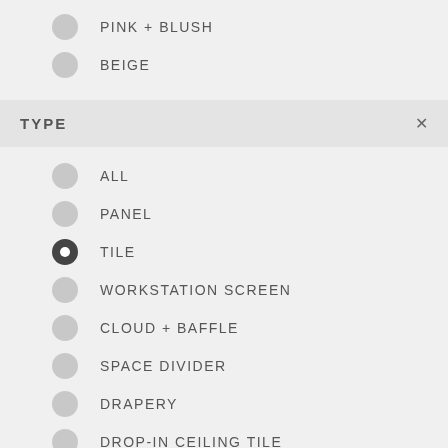PINK + BLUSH
BEIGE
TYPE
ALL
PANEL
TILE
WORKSTATION SCREEN
CLOUD + BAFFLE
SPACE DIVIDER
DRAPERY
DROP-IN CEILING TILE